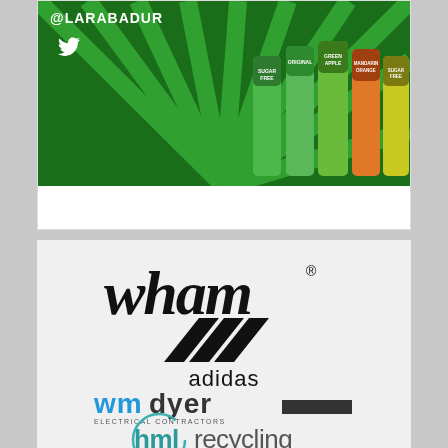[Figure (photo): Green banner advertisement with @LARABADUR Twitter handle and colorful drink cans (Sugar Free, Original, Green Apple, Mandarin Orange, Sugar Free) on a dark green background with radiating light rays]
[Figure (logo): Wham brand logo in stylized black script font with registered trademark symbol]
[Figure (logo): Adidas logo with three black diagonal stripes above the word adidas in lowercase]
[Figure (logo): WM Dyer Electrical Contractors logo with blue and dark grey stylized text]
[Figure (logo): hml recycling logo with teal/cyan colored text inside a partial circle outline]